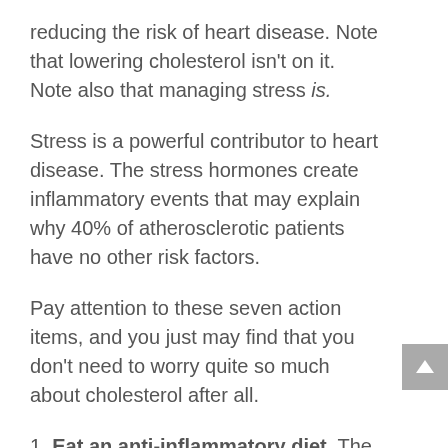reducing the risk of heart disease. Note that lowering cholesterol isn't on it. Note also that managing stress is.
Stress is a powerful contributor to heart disease. The stress hormones create inflammatory events that may explain why 40% of atherosclerotic patients have no other risk factors.
Pay attention to these seven action items, and you just may find that you don't need to worry quite so much about cholesterol after all.
1. Eat an anti-inflammatory diet. The fruit and vegetable kingdom is teeming with natural anti-inflammatories like quercetin (apples and onions) and curcumin (turmeric). Drink green tea and pomegranate juice. Balance your protein and fat with...